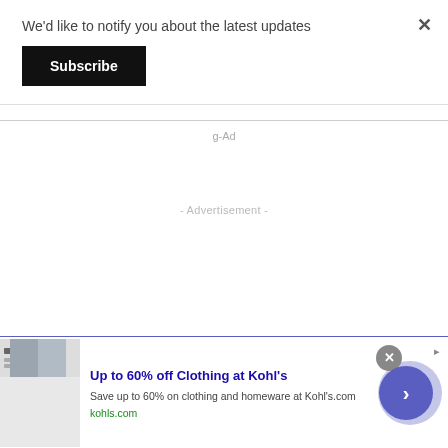We'd like to notify you about the latest updates
[Figure (screenshot): Black Subscribe button]
×
g-Ad
- Advertisement -
[Figure (screenshot): Bottom advertisement banner: Up to 60% off Clothing at Kohl's. Save up to 60% on clothing and homeware at Kohl's.com. kohls.com. With thumbnail image of people, close button, and arrow button.]